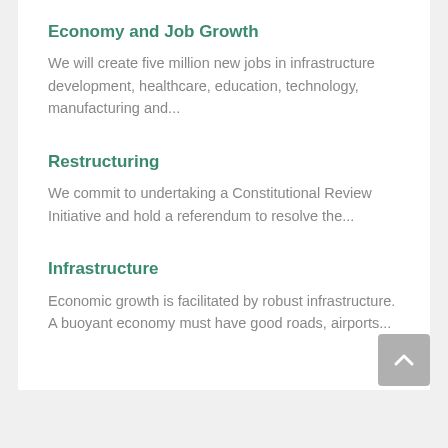Economy and Job Growth
We will create five million new jobs in infrastructure development, healthcare, education, technology, manufacturing and...
Restructuring
We commit to undertaking a Constitutional Review Initiative and hold a referendum to resolve the...
Infrastructure
Economic growth is facilitated by robust infrastructure. A buoyant economy must have good roads, airports...